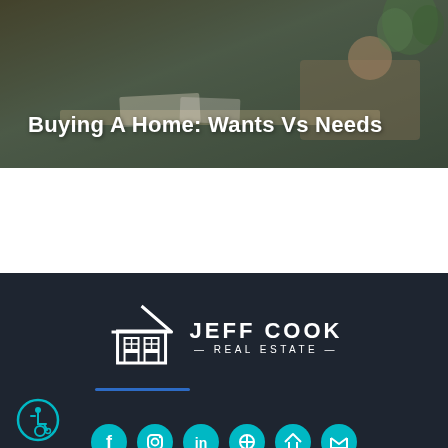[Figure (photo): Header photo of a person reviewing documents/plans at a desk, with plants visible in background. Dark overlay with white title text overlaid.]
Buying A Home: Wants Vs Needs
[Figure (logo): Jeff Cook Real Estate logo — house icon with grid window design and stylized text JEFF COOK REAL ESTATE on dark background]
[Figure (illustration): Accessibility icon — wheelchair user symbol inside a teal circle]
[Figure (illustration): Row of teal social media icon circles at the bottom of the footer (Facebook, Instagram, LinkedIn, and others)]